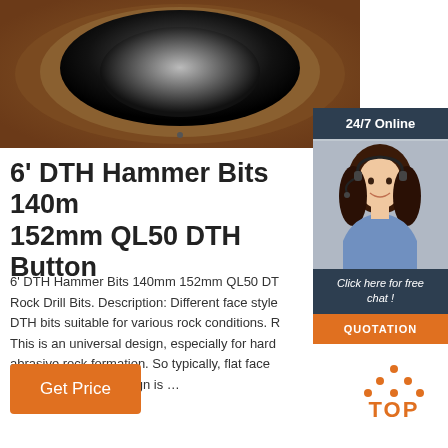[Figure (photo): Close-up photo of a DTH hammer drill bit face showing the circular drill hole with dark center against a brown/rust metal background]
[Figure (infographic): 24/7 Online customer support widget with photo of woman with headset, 'Click here for free chat!' text and orange QUOTATION button]
6' DTH Hammer Bits 140mm 152mm QL50 DTH Button
6' DTH Hammer Bits 140mm 152mm QL50 DTH Rock Drill Bits. Description: Different face styles DTH bits suitable for various rock conditions. This is an universal design, especially for hard abrasive rock formation. So typically, flat face spherical buttons design is …
[Figure (illustration): Orange 'Get Price' button]
[Figure (logo): Orange TOP logo with dots arranged in triangle above the word TOP]